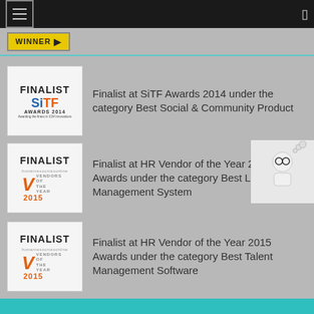Navigation bar with hamburger menu
[Figure (logo): WINNER badge in yellow]
[Figure (logo): FINALIST SiTF AWARDS 2014 badge]
Finalist at SiTF Awards 2014 under the category Best Social & Community Product
[Figure (logo): FINALIST HR Vendor of the Year 2015 badge]
Finalist at HR Vendor of the Year 2015 Awards under the category Best Learning Management System
[Figure (logo): FINALIST HR Vendor of the Year 2015 badge]
Finalist at HR Vendor of the Year 2015 Awards under the category Best Talent Management Software
Teal footer bar